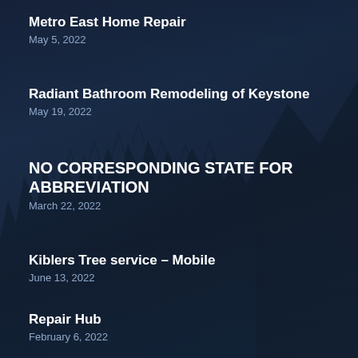Metro East Home Repair
May 5, 2022
Radiant Bathroom Remodeling of Keystone
May 19, 2022
NO CORRESPONDING STATE FOR ABBREVIATION
March 22, 2022
Kiblers Tree service – Mobile
June 13, 2022
Repair Hub
February 6, 2022